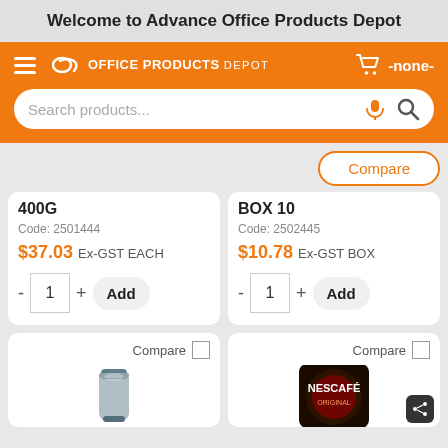Welcome to Advance Office Products Depot
[Figure (screenshot): Orange navigation bar with hamburger menu, Office Products Depot logo, shopping cart icon with '-none-' text, and a search bar with microphone and search icons]
400G
Code: 2501444
$37.03 Ex-GST EACH
BOX 10
Code: 2502445
$10.78 Ex-GST BOX
Compare
[Figure (photo): Thermos/vacuum flask product image]
[Figure (photo): Nescafe Original coffee product image]